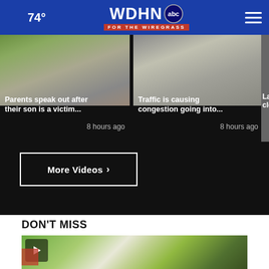WDHN ABC FOR THE WIREGRASS — 74°
[Figure (screenshot): Video thumbnail: Parents speak out after their son is a victim...]
Parents speak out after their son is a victim...
8 hours ago
[Figure (screenshot): Video thumbnail: Traffic is causing congestion going into...]
Traffic is causing congestion going into...
8 hours ago
[Figure (screenshot): Video thumbnail: Larry closes...]
Larry closes
More Videos ›
DON'T MISS
[Figure (screenshot): Bottom video thumbnail showing outdoor scene with trees and buildings]